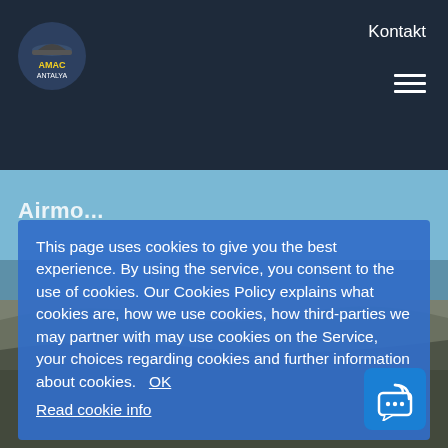Kontakt
[Figure (logo): Round logo with building/hat icon and yellow text on dark background]
[Figure (photo): Aerial or landscape photo of a coastal/beach area with blue sky, water, and sandy terrain]
This page uses cookies to give you the best experience. By using the service, you consent to the use of cookies. Our Cookies Policy explains what cookies are, how we use cookies, how third-parties we may partner with may use cookies on the Service, your choices regarding cookies and further information about cookies.   OK
Read cookie info
[Figure (illustration): Blue chat/messaging widget icon with radio signal and ellipsis dots]